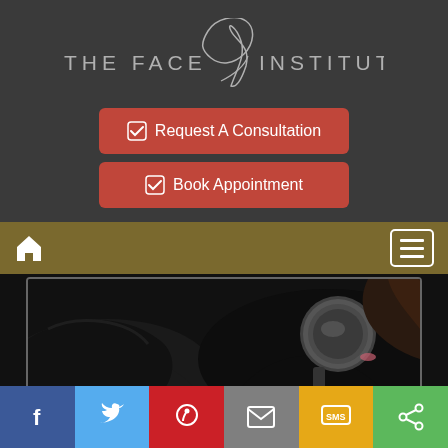[Figure (logo): The Face Institute logo with stylized face profile illustration in center, text reads THE FACE on left and INSTITUTE on right in light gray on dark background]
[Figure (other): Red rounded button with check/edit icon reading 'Request A Consultation']
[Figure (other): Red rounded button with check/edit icon reading 'Book Appointment']
[Figure (other): Gold/tan navigation bar with home icon on left and hamburger menu button on right]
[Figure (photo): Close-up photo of a medical or cosmetic procedure being performed, showing gloved hands and a circular metal instrument near a person's skin, dark background]
JANUARY 2016 ON CBC NEWS
[Figure (other): Social share bar with six buttons: Facebook (blue), Twitter (light blue), Pinterest (red), Email (gray), SMS (yellow/gold), Share (green)]